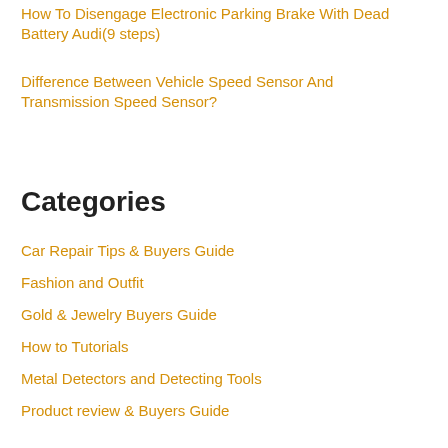How To Disengage Electronic Parking Brake With Dead Battery Audi(9 steps)
Difference Between Vehicle Speed Sensor And Transmission Speed Sensor?
Categories
Car Repair Tips & Buyers Guide
Fashion and Outfit
Gold & Jewelry Buyers Guide
How to Tutorials
Metal Detectors and Detecting Tools
Product review & Buyers Guide